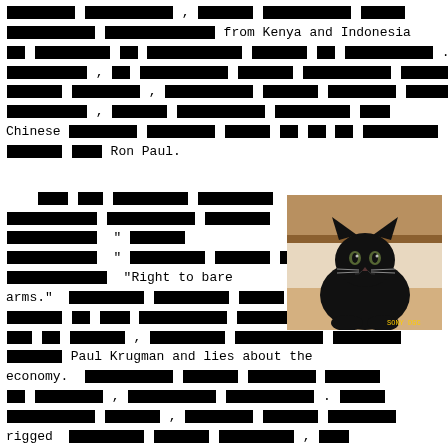[redacted document page with visible text: 'from Kenya and Indonesia', 'Chinese', 'Ron Paul.', '"Right to bare arms."', 'Paul Krugman and lies about the economy.', 'rigged', 'Hollywood and the']
[Figure (photo): A black cat sitting on a surface, looking at the camera, with wooden shelves in the background.]